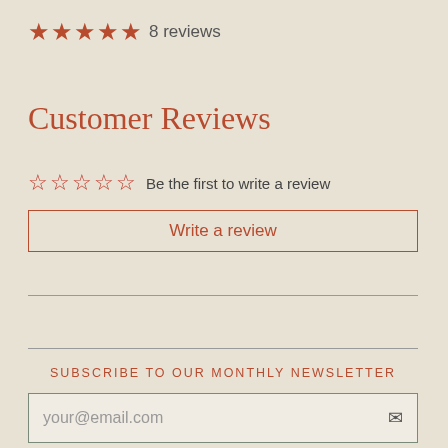[Figure (other): Decorative background pattern with repeating dragonfly/circle motifs in light beige/cream]
★★★★★ 8 reviews
Customer Reviews
☆☆☆☆☆  Be the first to write a review
Write a review
SUBSCRIBE TO OUR MONTHLY NEWSLETTER
your@email.com